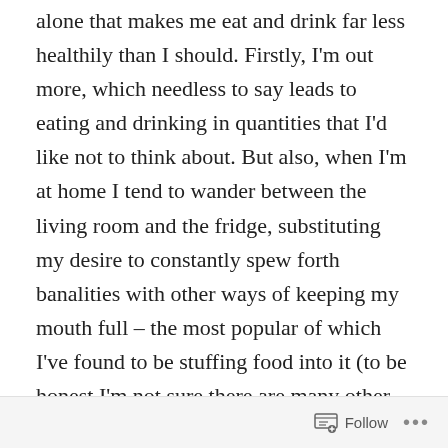alone that makes me eat and drink far less healthily than I should. Firstly, I'm out more, which needless to say leads to eating and drinking in quantities that I'd like not to think about. But also, when I'm at home I tend to wander between the living room and the fridge, substituting my desire to constantly spew forth banalities with other ways of keeping my mouth full – the most popular of which I've found to be stuffing food into it (to be honest I'm not sure there are many other options but I'm open to suggestions).
And so it was that I came upon the novel idea of making biscuits that would fill said mouth while maintaining some sense of healthiness and still, hopefully, tasting rather good.
Chocolate chip ginger oat biscuits
Follow